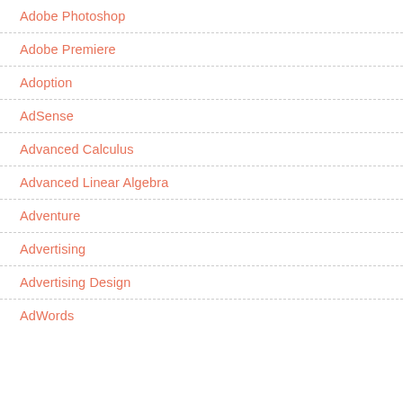Adobe Photoshop
Adobe Premiere
Adoption
AdSense
Advanced Calculus
Advanced Linear Algebra
Adventure
Advertising
Advertising Design
AdWords